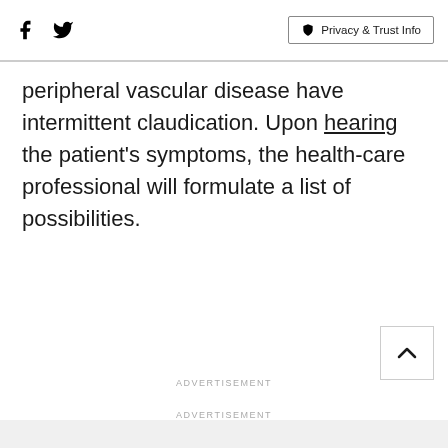Facebook Twitter | Privacy & Trust Info
peripheral vascular disease have intermittent claudication. Upon hearing the patient's symptoms, the health-care professional will formulate a list of possibilities.
ADVERTISEMENT
ADVERTISEMENT